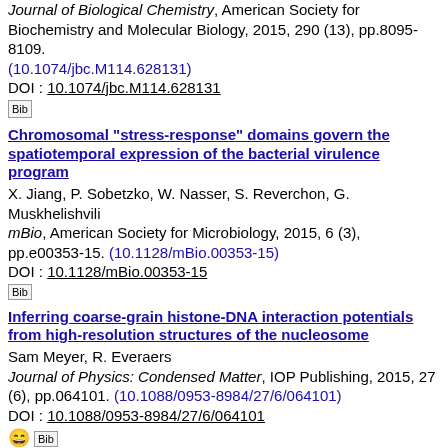Journal of Biological Chemistry, American Society for Biochemistry and Molecular Biology, 2015, 290 (13), pp.8095-8109. (10.1074/jbc.M114.628131) DOI : 10.1074/jbc.M114.628131
Chromosomal "stress-response" domains govern the spatiotemporal expression of the bacterial virulence program
X. Jiang, P. Sobetzko, W. Nasser, S. Reverchon, G. Muskhelishvili
mBio, American Society for Microbiology, 2015, 6 (3), pp.e00353-15. (10.1128/mBio.00353-15) DOI : 10.1128/mBio.00353-15
Inferring coarse-grain histone-DNA interaction potentials from high-resolution structures of the nucleosome
Sam Meyer, R. Everaers
Journal of Physics: Condensed Matter, IOP Publishing, 2015, 27 (6), pp.064101. (10.1088/0953-8984/27/6/064101) DOI : 10.1088/0953-8984/27/6/064101
IscR Regulates Synthesis of Colonization Factor Antigen I Fimbriae in Response to Iron Starvation in Enterotoxigenic Escherichia coli
S. Haines, N. Arnaud-Barbe, D. Poncet, S. Reverchon, J. Wawrzyniak, W. Nasser, G. Renauld-Mongenie
Journal of Bacteriology, American Society for Microbiology, 2015